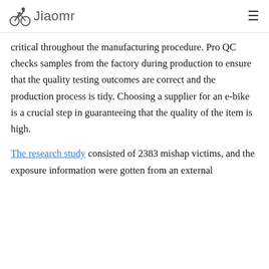Jiaomr
critical throughout the manufacturing procedure. Pro QC checks samples from the factory during production to ensure that the quality testing outcomes are correct and the production process is tidy. Choosing a supplier for an e-bike is a crucial step in guaranteeing that the quality of the item is high.
The research study consisted of 2383 mishap victims, and the exposure information were gotten from an external